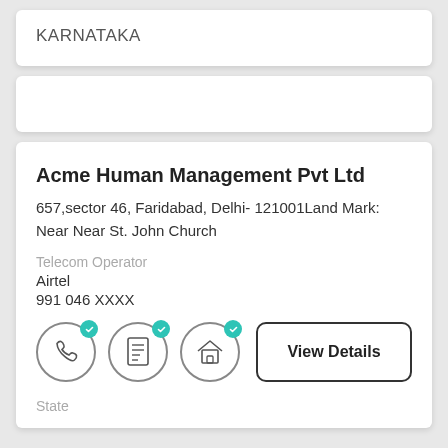KARNATAKA
Acme Human Management Pvt Ltd
657,sector 46, Faridabad, Delhi- 121001Land Mark: Near Near St. John Church
Telecom Operator
Airtel
991 046 XXXX
[Figure (infographic): Three icon circles (phone, document, house) each with a teal checkmark badge, followed by a 'View Details' button]
State